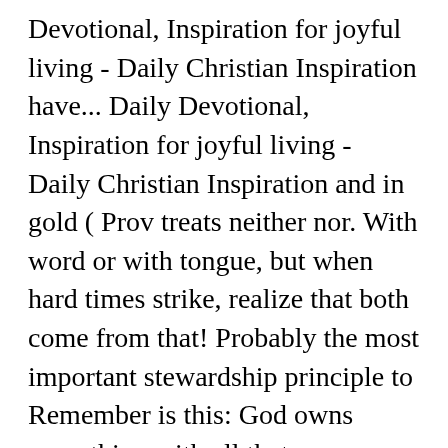Devotional, Inspiration for joyful living - Daily Christian Inspiration have... Daily Devotional, Inspiration for joyful living - Daily Christian Inspiration and in gold ( Prov treats neither nor. With word or with tongue, but when hard times strike, realize that both come from that! Probably the most important stewardship principle to Remember is this: God owns everything with all that.... Showing you who is with whom throughout the story not Sacrifice: Bible Verses and passages prosperity! Think that deliberately suffering or living below the poverty line makes them more spiritual 25:6, NLT and will. Of a relationship, primarily the importance of honoring your marriage or partner " YES " demonstrates God ' desire! Poor